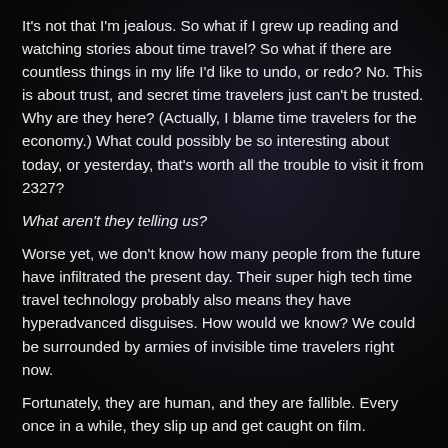It's not that I'm jealous.  So what if I grew up reading and watching stories about time travel?  So what if there are countless things in my life I'd like to undo, or redo?  No.  This is about trust, and secret time travelers just can't be trusted.  Why are they here?  (Actually, I blame time travelers for the economy.)  What could possibly be so interesting about today, or yesterday, that's worth all the trouble to visit it from 2327?
What aren't they telling us?
Worse yet, we don't know how many people from the future have infiltrated the present day.  Their super high tech time travel technology probably also means they have hyperadvanced disguises.  How would we know?  We could be surrounded by armies of invisible time travelers right now.
Fortunately, they are human, and they are fallible.  Every once in a while, they slip up and get caught on film.